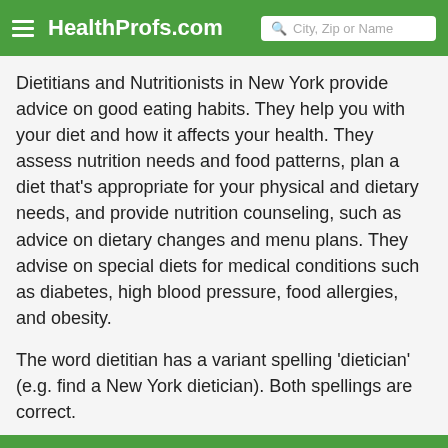HealthProfs.com  City, Zip or Name
Dietitians and Nutritionists in New York provide advice on good eating habits. They help you with your diet and how it affects your health. They assess nutrition needs and food patterns, plan a diet that's appropriate for your physical and dietary needs, and provide nutrition counseling, such as advice on dietary changes and menu plans. They advise on special diets for medical conditions such as diabetes, high blood pressure, food allergies, and obesity.
The word dietitian has a variant spelling 'dietician' (e.g. find a New York dietician). Both spellings are correct.
HealthProfs.com
Acupuncturists
Medical Doctors
Chiropractors
Naturopathic...